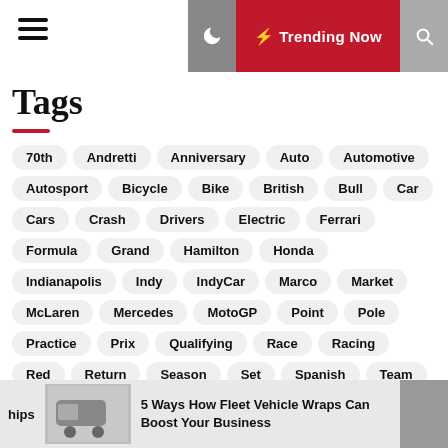Trending Now
Tags
70th
Andretti
Anniversary
Auto
Automotive
Autosport
Bicycle
Bike
British
Bull
Car
Cars
Crash
Drivers
Electric
Ferrari
Formula
Grand
Hamilton
Honda
Indianapolis
Indy
IndyCar
Marco
Market
McLaren
Mercedes
MotoGP
Point
Pole
Practice
Prix
Qualifying
Race
Racing
Red
Return
Season
Set
Spanish
Team
Transportation
Vehicle
Vettel
5 Ways How Fleet Vehicle Wraps Can Boost Your Business